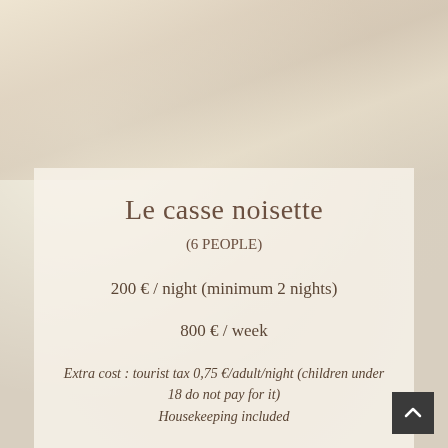[Figure (photo): Stone or marble textured background in warm beige and cream tones occupying the upper portion of the page]
Le casse noisette
(6 PEOPLE)
200 € / night (minimum 2 nights)
800 € / week
Extra cost : tourist tax 0,75 €/adult/night (children under 18 do not pay for it)
Housekeeping included